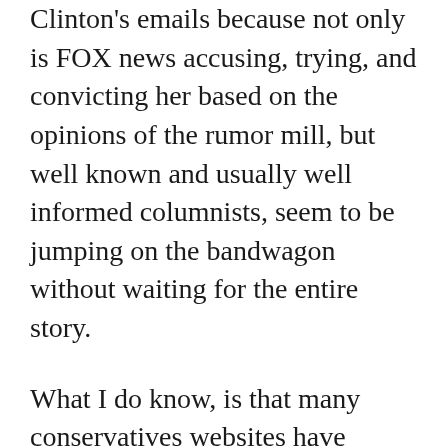Clinton's emails because not only is FOX news accusing, trying, and convicting her based on the opinions of the rumor mill, but well known and usually well informed columnists, seem to be jumping on the bandwagon without waiting for the entire story.
What I do know, is that many conservatives websites have eagerly circulated claims that Clinton is being investigated by the FBI and even that a large number of the emails on her private account contain numerous examples of